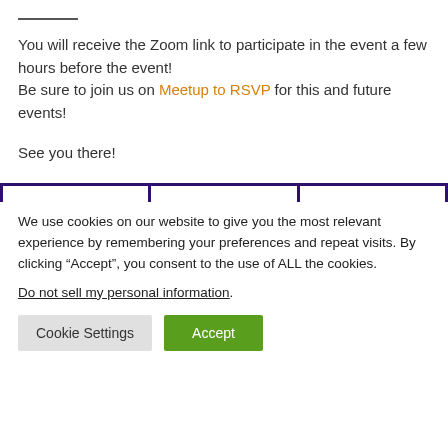You will receive the Zoom link to participate in the event a few hours before the event!
Be sure to join us on Meetup to RSVP for this and future events!
See you there!
We use cookies on our website to give you the most relevant experience by remembering your preferences and repeat visits. By clicking “Accept”, you consent to the use of ALL the cookies.
Do not sell my personal information.